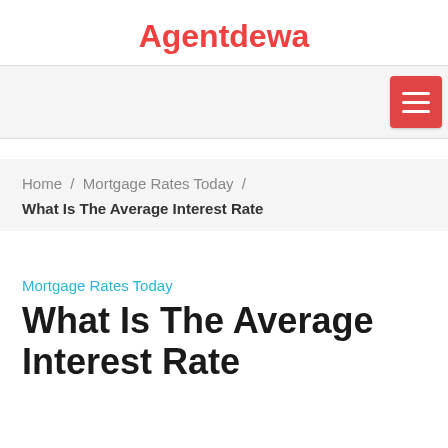Agentdewa
Home / Mortgage Rates Today / What Is The Average Interest Rate
Mortgage Rates Today
What Is The Average Interest Rate